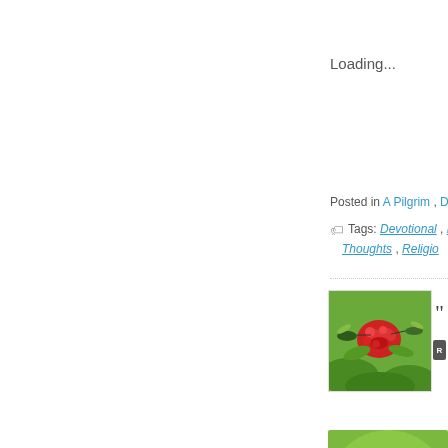Loading...
Posted in A Pilgrim , D
Tags: Devotional , [truncated] Thoughts , Religio[n]
[Figure (photo): Hummingbird feeding on red flower cluster against green background]
[Figure (photo): Hummingbird in flight near orange flower against green background]